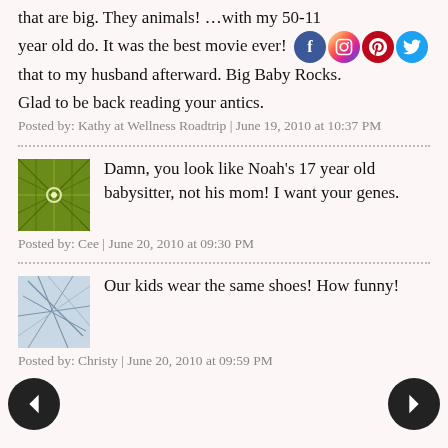that are big. They animals! …with my 50-11 year old do. It was the best movie ever! [social icons] that to my husband afterward. Big Baby Rocks.
Glad to be back reading your antics.
Posted by: Kathy at Wellness Roadtrip | June 19, 2010 at 10:37 PM
Damn, you look like Noah's 17 year old babysitter, not his mom! I want your genes.
Posted by: Cee | June 20, 2010 at 09:30 PM
Our kids wear the same shoes! How funny!
Posted by: Christy | June 20, 2010 at 09:59 PM